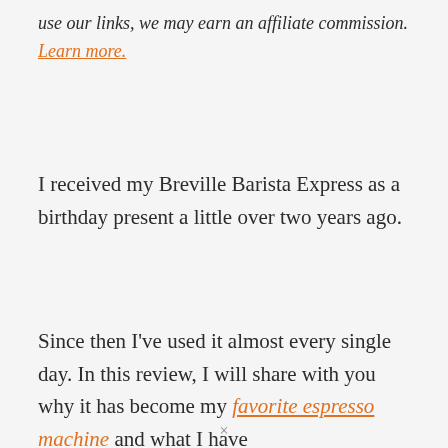use our links, we may earn an affiliate commission. Learn more.
I received my Breville Barista Express as a birthday present a little over two years ago.
Since then I've used it almost every single day. In this review, I will share with you why it has become my favorite espresso machine and what I have
×